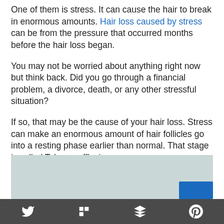One of them is stress. It can cause the hair to break in enormous amounts. Hair loss caused by stress can be from the pressure that occurred months before the hair loss began.
You may not be worried about anything right now but think back. Did you go through a financial problem, a divorce, death, or any other stressful situation?
If so, that may be the cause of your hair loss. Stress can make an enormous amount of hair follicles go into a resting phase earlier than normal. That stage is called Telogen effluvium.
[Figure (other): Partially visible image placeholder with light grayish-green background and a blue button in the bottom right corner]
Social share bar with Twitter, Flipboard, Buffer, and Pinterest icons